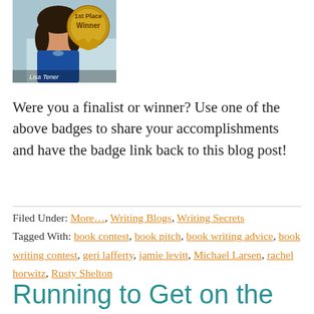[Figure (photo): Photo of a woman (Lisa Tener) with a gold '1st Place Winner' badge overlay in the top-left corner]
Were you a finalist or winner? Use one of the above badges to share your accomplishments and have the badge link back to this blog post!
Filed Under: More…, Writing Blogs, Writing Secrets
Tagged With: book contest, book pitch, book writing advice, book writing contest, geri lafferty, jamie levitt, Michael Larsen, rachel horwitz, Rusty Shelton
Running to Get on the